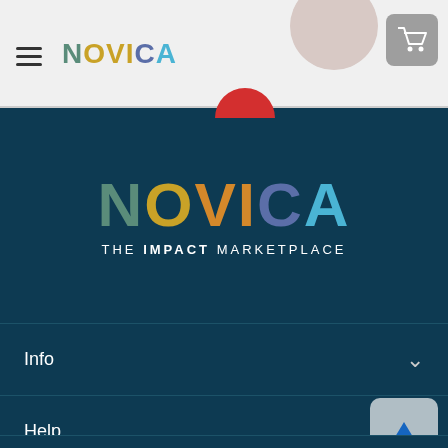NOVICA
[Figure (logo): NOVICA logo - The Impact Marketplace with colorful letters on dark teal background]
Info
Help
Site Map